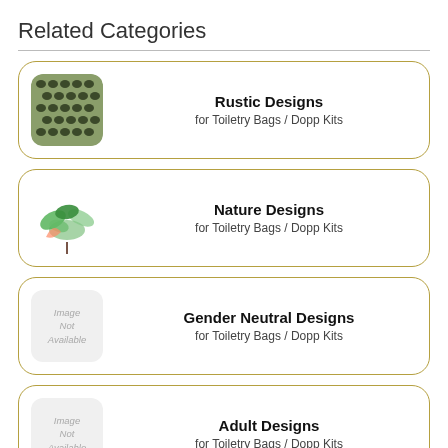Related Categories
Rustic Designs
for Toiletry Bags / Dopp Kits
Nature Designs
for Toiletry Bags / Dopp Kits
Gender Neutral Designs
for Toiletry Bags / Dopp Kits
Adult Designs
for Toiletry Bags / Dopp Kits